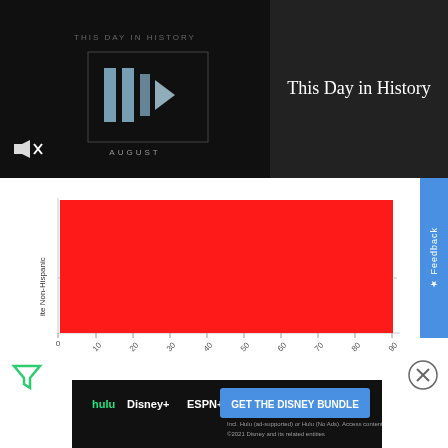[Figure (screenshot): Video thumbnail for 'This Day in History' showing a dark background with play button icon and AUGUST text, with mute icon in bottom left]
This Day in History
[Figure (bar-chart): LaborForceParticipation]
LaborForceParticipation
[Figure (screenshot): Disney Bundle advertisement showing Hulu, Disney+, ESPN+ logos with GET THE DISNEY BUNDLE text]